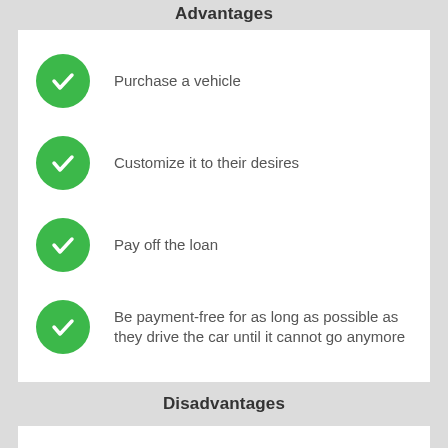Advantages
Purchase a vehicle
Customize it to their desires
Pay off the loan
Be payment-free for as long as possible as they drive the car until it cannot go anymore
Disadvantages
Higher monthly payments